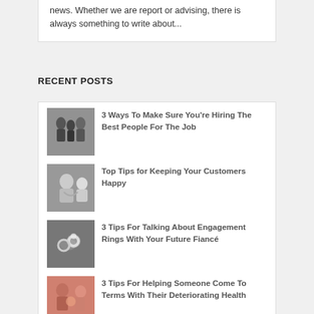news. Whether we are report or advising, there is always something to write about...
RECENT POSTS
3 Ways To Make Sure You're Hiring The Best People For The Job
Top Tips for Keeping Your Customers Happy
3 Tips For Talking About Engagement Rings With Your Future Fiancé
3 Tips For Helping Someone Come To Terms With Their Deteriorating Health